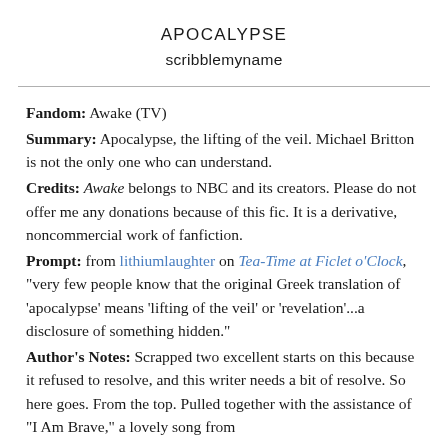APOCALYPSE
scribblemyname
Fandom: Awake (TV)
Summary: Apocalypse, the lifting of the veil. Michael Britton is not the only one who can understand.
Credits: Awake belongs to NBC and its creators. Please do not offer me any donations because of this fic. It is a derivative, noncommercial work of fanfiction.
Prompt: from lithiumlaughter on Tea-Time at Ficlet o'Clock, "very few people know that the original Greek translation of 'apocalypse' means 'lifting of the veil' or 'revelation'...a disclosure of something hidden."
Author's Notes: Scrapped two excellent starts on this because it refused to resolve, and this writer needs a bit of resolve. So here goes. From the top. Pulled together with the assistance of "I Am Brave," a lovely song from